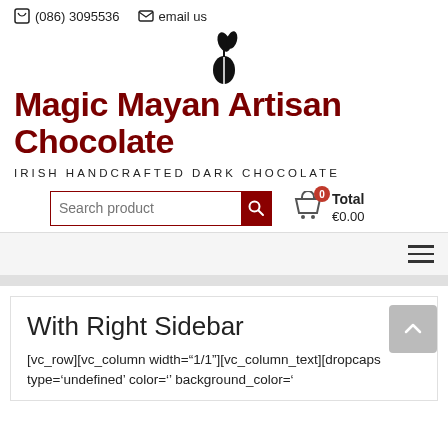(086) 3095536   email us
[Figure (logo): Cacao bean with leaves logo icon for Magic Mayan Artisan Chocolate]
Magic Mayan Artisan Chocolate
IRISH HANDCRAFTED DARK CHOCOLATE
Search product  Total €0.00
With Right Sidebar
[vc_row][vc_column width="1/1"][vc_column_text][dropcaps type='undefined' color='' background_color='